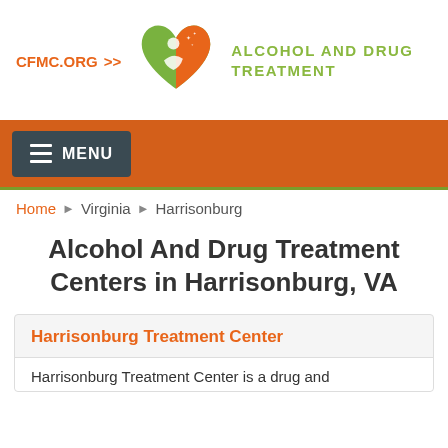[Figure (logo): CFMC.ORG logo with heart icon (green and orange heart shape with a figure inside) and 'Alcohol and Drug Treatment' text in green]
MENU navigation bar
Home › Virginia › Harrisonburg
Alcohol And Drug Treatment Centers in Harrisonburg, VA
Harrisonburg Treatment Center
Harrisonburg Treatment Center is a drug and